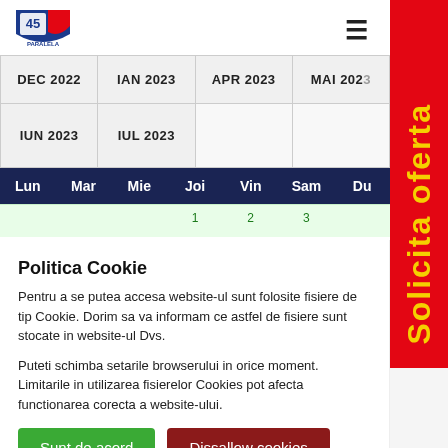[Figure (logo): Paralela 45 logo - blue and red shield with '45' text]
| DEC 2022 | IAN 2023 | APR 2023 | MAI 2023 | IUN 2023 | IUL 2023 |
| --- | --- | --- | --- | --- | --- |
| Lun | Mar | Mie | Joi | Vin | Sam | Du |
| --- | --- | --- | --- | --- | --- | --- |
|  |  |  | 1 | 2 | 3 |  |
Politica Cookie
Pentru a se putea accesa website-ul sunt folosite fisiere de tip Cookie. Dorim sa va informam ce astfel de fisiere sunt stocate in website-ul Dvs.
Puteti schimba setarile browserului in orice moment. Limitarile in utilizarea fisierelor Cookies pot afecta functionarea corecta a website-ului.
Sunt de acord | Dissallow cookies